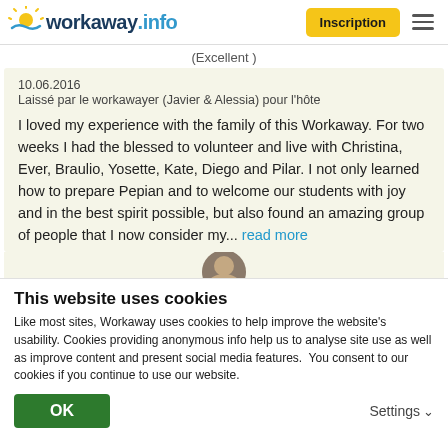workaway.info — Inscription
(Excellent )
10.06.2016
Laissé par le workawayer (Javier & Alessia) pour l'hôte
I loved my experience with the family of this Workaway. For two weeks I had the blessed to volunteer and live with Christina, Ever, Braulio, Yosette, Kate, Diego and Pilar. I not only learned how to prepare Pepian and to welcome our students with joy and in the best spirit possible, but also found an amazing group of people that I now consider my... read more
This website uses cookies
Like most sites, Workaway uses cookies to help improve the website's usability. Cookies providing anonymous info help us to analyse site use as well as improve content and present social media features.  You consent to our cookies if you continue to use our website.
OK
Settings